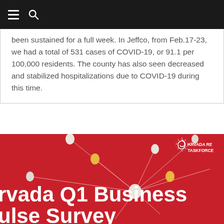Navigation bar with menu and search icons
been sustained for a full week. In Jeffco, from Feb.17-23, we had a total of 531 cases of COVID-19, or 91.1 per 100,000 residents. The county has also seen decreased and stabilized hospitalizations due to COVID-19 during this time.
[Figure (photo): Red background image with pin/tack nodes connected by white lines, showing Arvada Recovery Taskforce logo in top right, and large white bold text reading 'rvada Q1 Business' and 'ulse Survey']